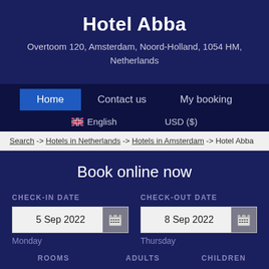Hotel Abba
Overtoom 120, Amsterdam, Noord-Holland, 1054 HM, Netherlands
Home | Contact us | My booking | English | USD ($)
Search -> Hotels in Netherlands -> Hotels in Amsterdam -> Hotel Abba
Book online now
CHECK-IN DATE: 5 Sep 2022, Monday
CHECK-OUT DATE: 8 Sep 2022, Thursday
ROOMS | ADULTS | CHILDREN